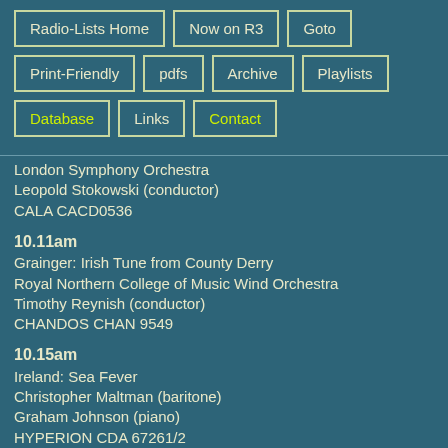Radio-Lists Home
Now on R3
Goto
Print-Friendly
pdfs
Archive
Playlists
Database
Links
Contact
London Symphony Orchestra
Leopold Stokowski (conductor)
CALA CACD0536
10.11am
Grainger: Irish Tune from County Derry
Royal Northern College of Music Wind Orchestra
Timothy Reynish (conductor)
CHANDOS CHAN 9549
10.15am
Ireland: Sea Fever
Christopher Maltman (baritone)
Graham Johnson (piano)
HYPERION CDA 67261/2